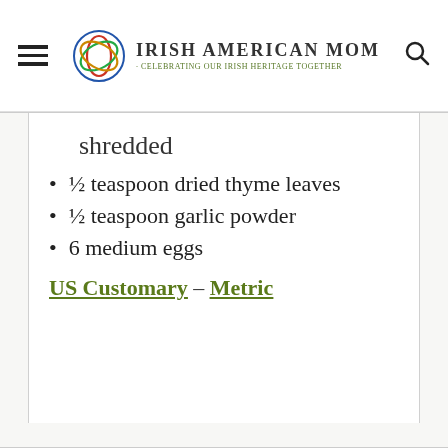Irish American Mom - Celebrating Our Irish Heritage Together
shredded
½ teaspoon dried thyme leaves
½ teaspoon garlic powder
6 medium eggs
US Customary – Metric